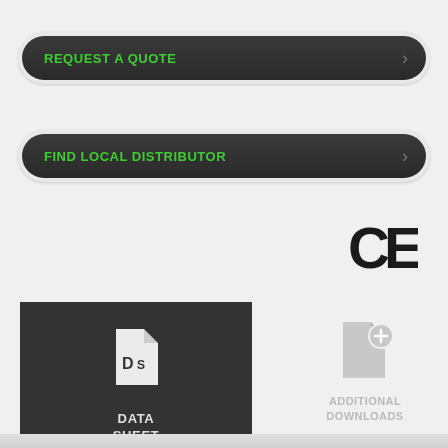REQUEST A QUOTE
FIND LOCAL DISTRIBUTOR
[Figure (logo): CE certification mark]
[Figure (infographic): Data Sheet download button — dark square tile with document icon labeled DS, green bottom bar]
DATA SHEET
[Figure (infographic): Additional Downloads icon — grey document with plus sign]
ADDITIONAL DOWNLOADS